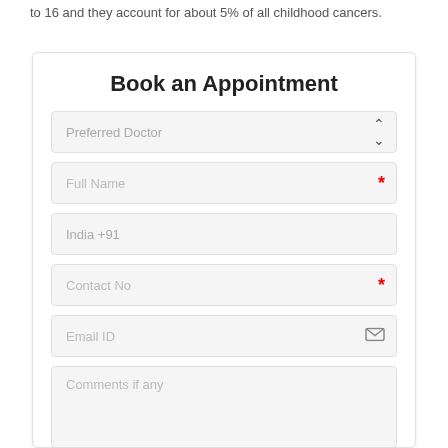to 16 and they account for about 5% of all childhood cancers.
Book an Appointment
Preferred Doctor
Full Name
India +91
Contact No
Email ID
Comments if any